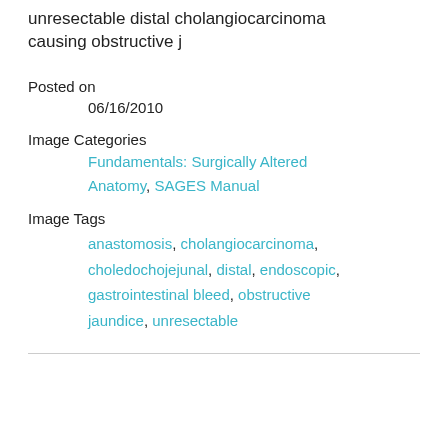unresectable distal cholangiocarcinoma causing obstructive j
Posted on
06/16/2010
Image Categories
Fundamentals: Surgically Altered Anatomy, SAGES Manual
Image Tags
anastomosis, cholangiocarcinoma, choledochojejunal, distal, endoscopic, gastrointestinal bleed, obstructive jaundice, unresectable